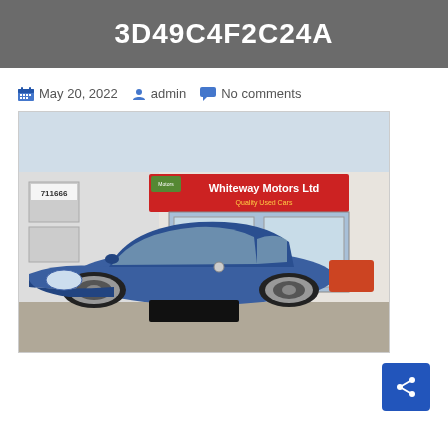3D49C4F2C24A
May 20, 2022  admin  No comments
[Figure (photo): Blue Peugeot 107 small hatchback parked in front of Whiteway Motors Ltd dealership. The dealership sign reads 'Whiteway Motors Ltd' and 'Quality Used Cars'. A phone number 711666 is visible on the left side. The car's number plate is blacked out.]
Share button (blue square with share icon)